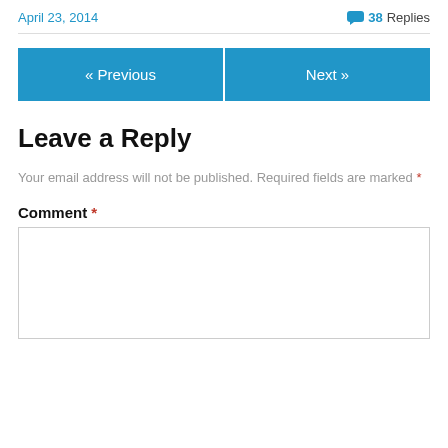April 23, 2014
38 Replies
« Previous
Next »
Leave a Reply
Your email address will not be published. Required fields are marked *
Comment *